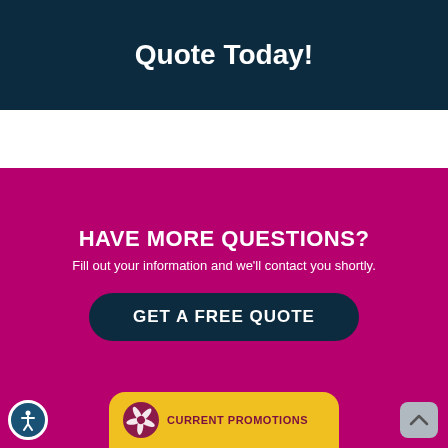Quote Today!
HAVE MORE QUESTIONS?
Fill out your information and we'll contact you shortly.
GET A FREE QUOTE
CURRENT PROMOTIONS